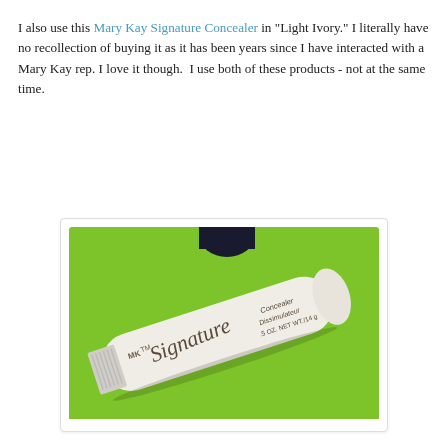I also use this Mary Kay Signature Concealer in "Light Ivory." I literally have no recollection of buying it as it has been years since I have interacted with a Mary Kay rep. I love it though.  I use both of these products - not at the same time.
[Figure (photo): Photo of a Mary Kay Signature Concealer tube (.5 OZ. NET WT./14g) lying on a bright green surface, with a dark cap partially visible at the top. The tube is white/cream colored with script 'Signature' branding and text 'MK', 'Concealer', 'Dissimulateur'.]